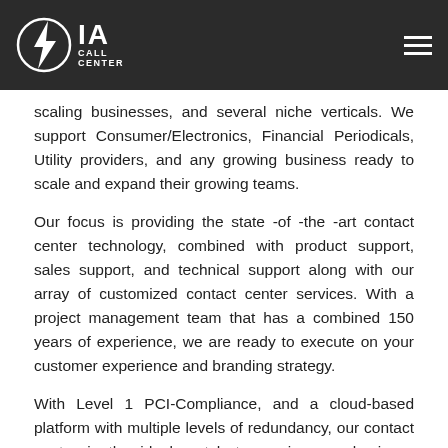IA CALL CENTER
scaling businesses, and several niche verticals. We support Consumer/Electronics, Financial Periodicals, Utility providers, and any growing business ready to scale and expand their growing teams.
Our focus is providing the state -of -the -art contact center technology, combined with product support, sales support, and technical support along with our array of customized contact center services. With a project management team that has a combined 150 years of experience, we are ready to execute on your customer experience and branding strategy.
With Level 1 PCI-Compliance, and a cloud-based platform with multiple levels of redundancy, our contact center is the ideal match to service any business looking to scale and outsource contact center services to a